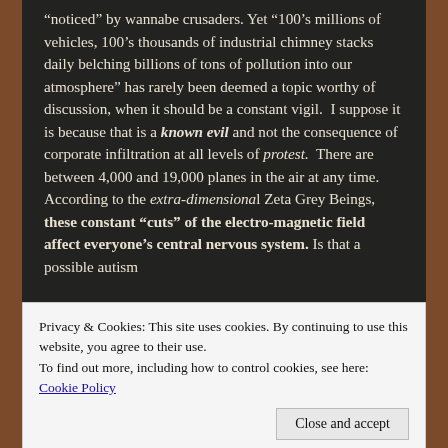“noticed” by wannabe crusaders. Yet “100’s millions of vehicles, 100’s thousands of industrial chimney stacks daily belching billions of tons of pollution into our atmosphere” has rarely been deemed a topic worthy of discussion, when it should be a constant vigil.  I suppose it is because that is a known evil and not the consequence of corporate infiltration at all levels of protest.  There are between 4,000 and 19,000 planes in the air at any time. According to the extra-dimensional Zeta Grey Beings, these constant “cuts” of the electro-magnetic field affect everyone’s central nervous system. Is that a possible autism
Privacy & Cookies: This site uses cookies. By continuing to use this website, you agree to their use.
To find out more, including how to control cookies, see here:
Cookie Policy